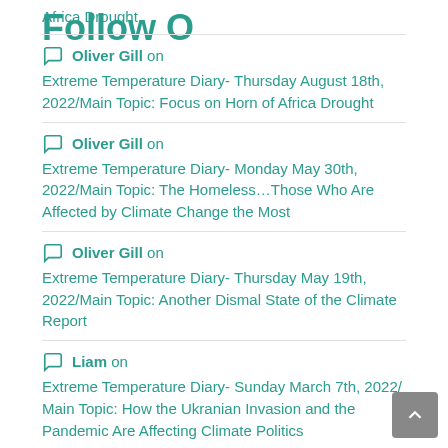Africa Drought
Oliver Gill on Extreme Temperature Diary- Thursday August 18th, 2022/Main Topic: Focus on Horn of Africa Drought
Oliver Gill on Extreme Temperature Diary- Monday May 30th, 2022/Main Topic: The Homeless…Those Who Are Affected by Climate Change the Most
Oliver Gill on Extreme Temperature Diary- Thursday May 19th, 2022/Main Topic: Another Dismal State of the Climate Report
Liam on Extreme Temperature Diary- Sunday March 7th, 2022/ Main Topic: How the Ukranian Invasion and the Pandemic Are Affecting Climate Politics
Follow O